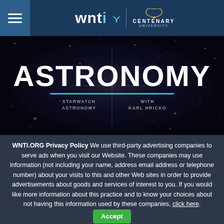WNTI Centenary University
[Figure (photo): Astronomy hero banner showing deep space/galaxy image background with bold white text 'ASTRONOMY', a cyan horizontal line, and subtitle text 'STARWATCH ASTRONOMY WITH KARL HRICKO']
WNTI.ORG Privacy Policy We use third-party advertising companies to serve ads when you visit our Website. These companies may use information (not including your name, address email address or telephone number) about your visits to this and other Web sites in order to provide advertisements about goods and services of interest to you. If you would like more information about this practice and to know your choices about not having this information used by these companies, click here. Accept